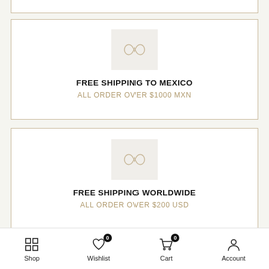[Figure (other): Partial top border of a card (top trimmed off)]
[Figure (infographic): Free Shipping to Mexico card with infinity-like icon, bold title FREE SHIPPING TO MEXICO and subtitle ALL ORDER OVER $1000 MXN]
[Figure (infographic): Free Shipping Worldwide card with infinity-like icon, bold title FREE SHIPPING WORLDWIDE and subtitle ALL ORDER OVER $200 USD]
Shop  Wishlist 0  Cart 0  Account